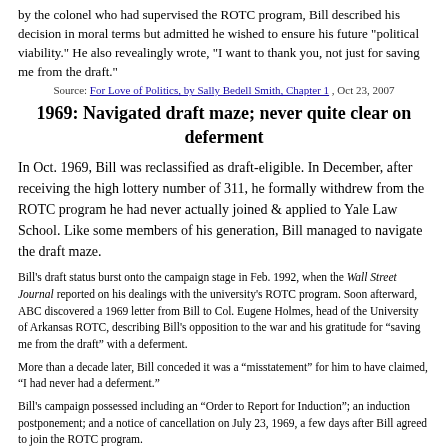by the colonel who had supervised the ROTC program, Bill described his decision in moral terms but admitted he wished to ensure his future "political viability." He also revealingly wrote, "I want to thank you, not just for saving me from the draft."
Source: For Love of Politics, by Sally Bedell Smith, Chapter 1 , Oct 23, 2007
1969: Navigated draft maze; never quite clear on deferment
In Oct. 1969, Bill was reclassified as draft-eligible. In December, after receiving the high lottery number of 311, he formally withdrew from the ROTC program he had never actually joined & applied to Yale Law School. Like some members of his generation, Bill managed to navigate the draft maze.
Bill's draft status burst onto the campaign stage in Feb. 1992, when the Wall Street Journal reported on his dealings with the university's ROTC program. Soon afterward, ABC discovered a 1969 letter from Bill to Col. Eugene Holmes, head of the University of Arkansas ROTC, describing Bill's opposition to the war and his gratitude for “saving me from the draft” with a deferment.
More than a decade later, Bill conceded it was a “misstatement” for him to have claimed, “I had never had a deferment.”
Bill's campaign possessed including an “Order to Report for Induction”; an induction postponement; and a notice of cancellation on July 23, 1969, a few days after Bill agreed to join the ROTC program.
Source: Her Way, by Jeff Gerth & Don Van Natta, p. 97-100 , Jun 8, 2007